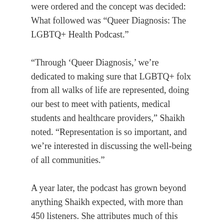were ordered and the concept was decided: What followed was “Queer Diagnosis: The LGBTQ+ Health Podcast.”
“Through ‘Queer Diagnosis,’ we’re dedicated to making sure that LGBTQ+ folx from all walks of life are represented, doing our best to meet with patients, medical students and healthcare providers,” Shaikh noted. “Representation is so important, and we’re interested in discussing the well-being of all communities.”
A year later, the podcast has grown beyond anything Shaikh expected, with more than 450 listeners. She attributes much of this growth to a partnership with WGSS, recalling how Professor Lisa Diedrich, the chair of the department